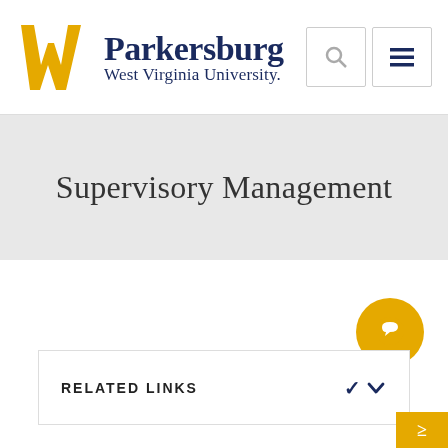[Figure (logo): WVU Parkersburg logo with gold flying WV mark and navy blue text reading Parkersburg West Virginia University]
Supervisory Management
RELATED LINKS